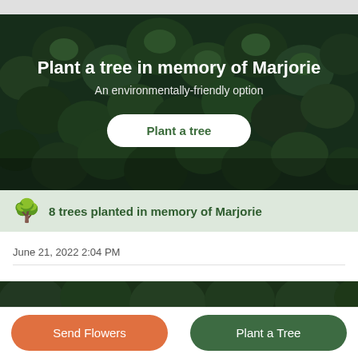Plant a tree in memory of Marjorie
An environmentally-friendly option
Plant a tree
8 trees planted in memory of Marjorie
June 21, 2022 2:04 PM
[Figure (photo): Aerial view of dense green forest]
Send Flowers
Plant a Tree